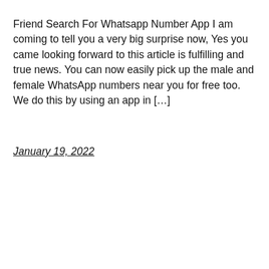Friend Search For Whatsapp Number App I am coming to tell you a very big surprise now, Yes you came looking forward to this article is fulfilling and true news. You can now easily pick up the male and female WhatsApp numbers near you for free too. We do this by using an app in […]
January 19, 2022